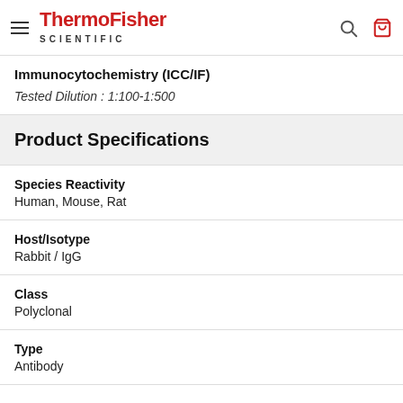ThermoFisher SCIENTIFIC
Immunocytochemistry (ICC/IF)
Tested Dilution : 1:100-1:500
Product Specifications
Species Reactivity
Human, Mouse, Rat
Host/Isotype
Rabbit / IgG
Class
Polyclonal
Type
Antibody